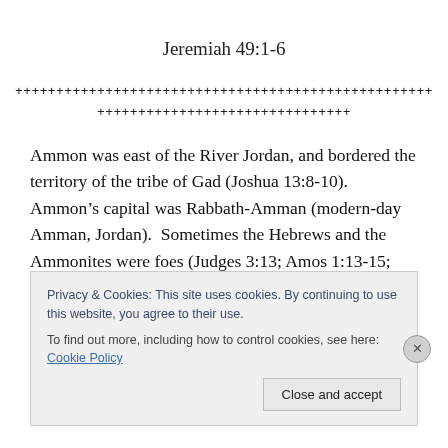Jeremiah 49:1-6
+++++++++++++++++++++++++++++++++++++++++++++++++
+++++++++++++++++++++++++++++++
Ammon was east of the River Jordan, and bordered the territory of the tribe of Gad (Joshua 13:8-10).  Ammon’s capital was Rabbath-Amman (modern-day Amman, Jordan).  Sometimes the Hebrews and the Ammonites were foes (Judges 3:13; Amos 1:13-15; Zephaniah 2:8;
Privacy & Cookies: This site uses cookies. By continuing to use this website, you agree to their use.
To find out more, including how to control cookies, see here: Cookie Policy

Close and accept